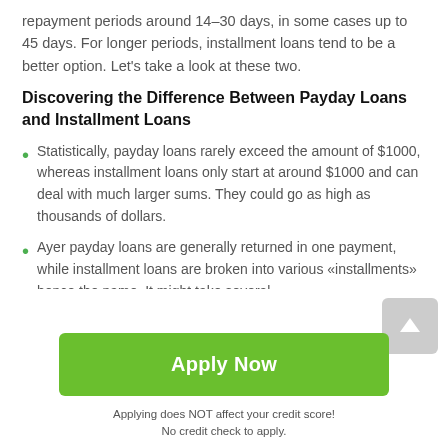repayment periods around 14–30 days, in some cases up to 45 days. For longer periods, installment loans tend to be a better option. Let's take a look at these two.
Discovering the Difference Between Payday Loans and Installment Loans
Statistically, payday loans rarely exceed the amount of $1000, whereas installment loans only start at around $1000 and can deal with much larger sums. They could go as high as thousands of dollars.
Ayer payday loans are generally returned in one payment, while installment loans are broken into various «installments» hence the name. It might take several
[Figure (other): Grey square button with white upward arrow icon (scroll-to-top button)]
Apply Now
Applying does NOT affect your credit score!
No credit check to apply.